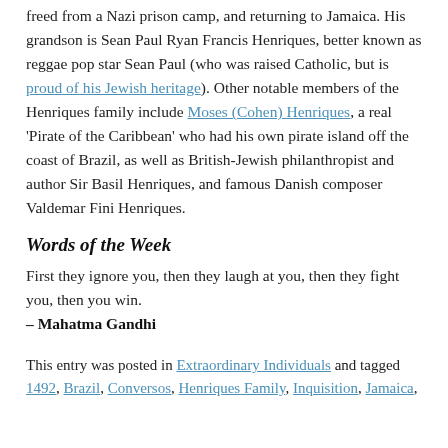freed from a Nazi prison camp, and returning to Jamaica. His grandson is Sean Paul Ryan Francis Henriques, better known as reggae pop star Sean Paul (who was raised Catholic, but is proud of his Jewish heritage). Other notable members of the Henriques family include Moses (Cohen) Henriques, a real 'Pirate of the Caribbean' who had his own pirate island off the coast of Brazil, as well as British-Jewish philanthropist and author Sir Basil Henriques, and famous Danish composer Valdemar Fini Henriques.
Words of the Week
First they ignore you, then they laugh at you, then they fight you, then you win.
– Mahatma Gandhi
This entry was posted in Extraordinary Individuals and tagged 1492, Brazil, Conversos, Henriques Family, Inquisition, Jamaica,